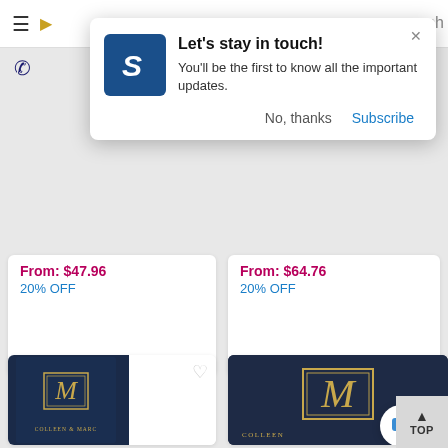[Figure (screenshot): Website popup notification dialog saying 'Let's stay in touch!' with logo, body text, No thanks and Subscribe buttons]
From: $47.96
20% OFF
From: $64.76
20% OFF
[Figure (photo): Navy blue custom wedding guest book cover with gold monogram M and text COLLEEN & MARC]
[Figure (photo): Navy blue custom wedding guest book cover with gold monogram M and text COLLEEN & MARC, larger view]